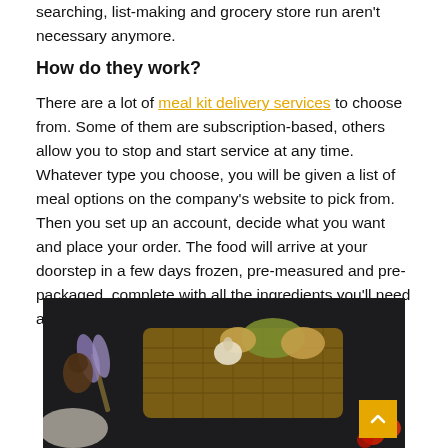searching, list-making and grocery store run aren't necessary anymore.
How do they work?
There are a lot of meal kit delivery services to choose from. Some of them are subscription-based, others allow you to stop and start service at any time. Whatever type you choose, you will be given a list of meal options on the company's website to pick from. Then you set up an account, decide what you want and place your order. The food will arrive at your doorstep in a few days frozen, pre-measured and pre-packaged, complete with all the ingredients you'll need and instructions for preparation.
[Figure (photo): A wicker basket filled with vegetables including potatoes and garlic, with lavender and pine cones on a dark background, alongside a bowl and tomatoes.]